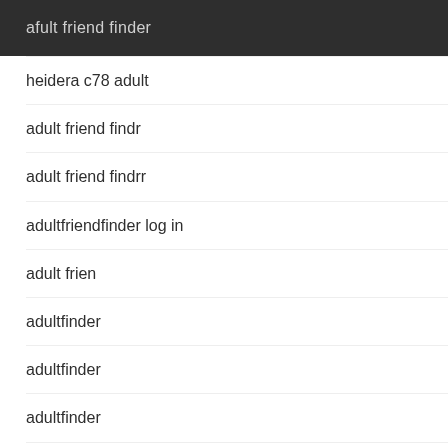afult friend finder
heidera c78 adult
adult friend findr
adult friend findrr
adultfriendfinder log in
adult frien
adultfinder
adultfinder
adultfinder
adultfinder
aff,com
adult frend